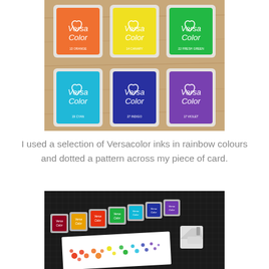[Figure (photo): Six VersaColor ink pads arranged in two rows on a wooden surface: top row shows orange (13 Orange), yellow (14 Canary), green (22 Fresh Green); bottom row shows cyan (19 Cyan), indigo (27 Indigo), violet (17 Violet). Each pad is in a clear plastic case with the VersaColor heart logo in white.]
I used a selection of Versacolor inks in rainbow colours and dotted a pattern across my piece of card.
[Figure (photo): Seven VersaColor mini ink pads in rainbow colours arranged in a row on a black cutting mat, alongside a small triangular clear stamp and a white card showing a dotted rainbow pattern made with the stamp and inks.]